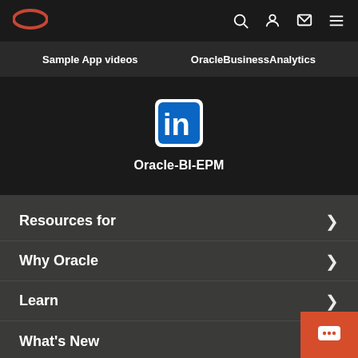[Figure (logo): Oracle logo (red oval) in top navigation bar]
Sample App videos
OracleBusinessAnalytics
[Figure (logo): LinkedIn icon logo with 'in' text in white rounded square]
Oracle-BI-EPM
Resources for
Why Oracle
Learn
What's New